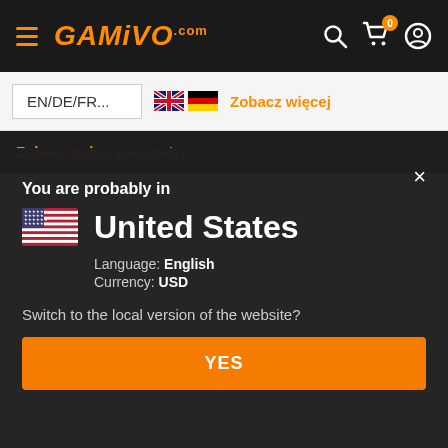[Figure (screenshot): GAMIVO.com website navigation bar with hamburger menu, orange logo, search icon, cart with badge 0, and user icon]
EN/DE/FR...
Zobacz więcej
Zobacz pełne parametry
×
You are probably in
United States
Language: English
Currency: USD
Switch to the local version of the website?
YES